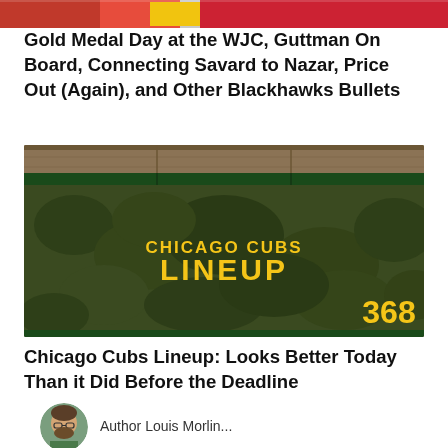[Figure (photo): Partial photo showing red and yellow sports uniforms at top of page]
Gold Medal Day at the WJC, Guttman On Board, Connecting Savard to Nazar, Price Out (Again), and Other Blackhawks Bullets
[Figure (photo): Photo of Wrigley Field ivy-covered outfield wall with 'CHICAGO CUBS LINEUP' text and '368' distance marker in yellow]
Chicago Cubs Lineup: Looks Better Today Than it Did Before the Deadline
[Figure (photo): Circular avatar photo of an author with glasses and beard]
Author Louis Morlin...